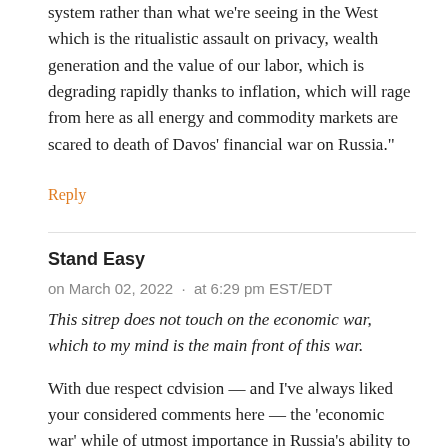system rather than what we're seeing in the West which is the ritualistic assault on privacy, wealth generation and the value of our labor, which is degrading rapidly thanks to inflation, which will rage from here as all energy and commodity markets are scared to death of Davos' financial war on Russia."
Reply
Stand Easy   on March 02, 2022 · at 6:29 pm EST/EDT
This sitrep does not touch on the economic war, which to my mind is the main front of this war.
With due respect cdvision — and I've always liked your considered comments here — the 'economic war' while of utmost importance in Russia's ability to prosecute war or sustain itself, is secondary. Sure, it will impact the standard of living, cause inconvenience, perhaps even affect the availability of goods needed for normal daily life but it is nothing compared to 'kinetic' war. Countries will go into debt or even bankrupt themselves in order to prosecute war to achieve their political aims. This doesn't apply to Russia at the moment of course and the prospect that it will is extremely slim, if not zero. The West are sitting pretty with